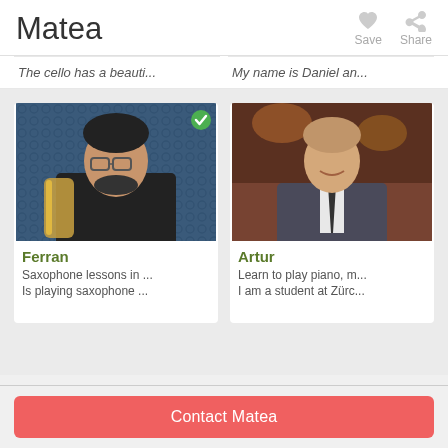Matea
Save
Share
The cello has a beauti...
My name is Daniel an...
[Figure (photo): Photo of Ferran, a man with glasses and beard holding a saxophone in front of a blue patterned background. A green checkmark badge appears in the top right corner of the photo.]
Ferran
Saxophone lessons in ...
Is playing saxophone ...
[Figure (photo): Photo of Artur, a young man in a suit jacket and tie, smiling, in front of a stage/theatre background.]
Artur
Learn to play piano, m...
I am a student at Zürc...
Contact Matea